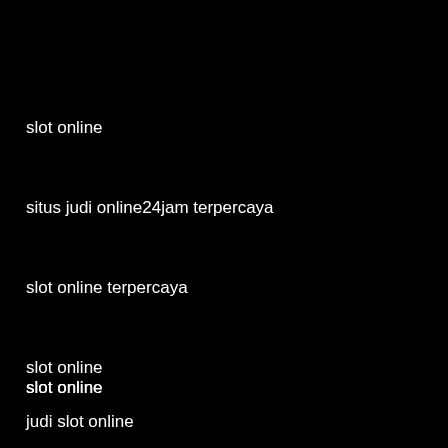slot online
situs judi online24jam terpercaya
slot online terpercaya
slot online
slot online
judi slot online